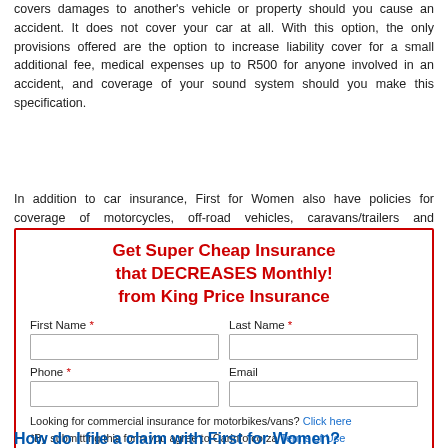covers damages to another's vehicle or property should you cause an accident. It does not cover your car at all. With this option, the only provisions offered are the option to increase liability cover for a small additional fee, medical expenses up to R500 for anyone involved in an accident, and coverage of your sound system should you make this specification.
In addition to car insurance, First for Women also have policies for coverage of motorcycles, off-road vehicles, caravans/trailers and watercrafts.
[Figure (infographic): Ad box with red border promoting King Price Insurance with form fields for First Name, Last Name, Phone, Email, and a 'Please call me!' button.]
How do I file a claim with First for Women?